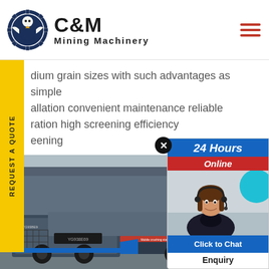[Figure (logo): C&M Mining Machinery logo with eagle gear emblem in dark blue, company name in bold black text]
dium grain sizes with such advantages as simple allation convenient maintenance reliable ration high screening efficiency eening
[Figure (photo): Mining machinery - mobile crushing/screening equipment (YG938E69) on site, industrial setting]
[Figure (infographic): 24 Hours Online chat widget with customer service representative photo, Click to Chat and Enquiry buttons]